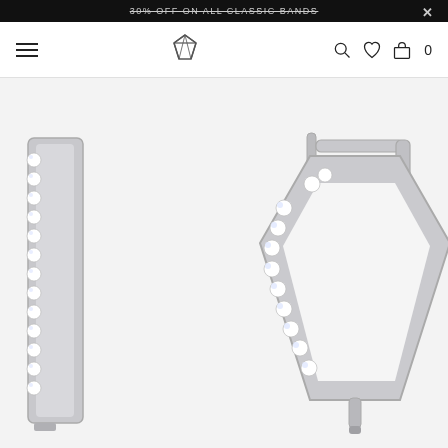30% OFF ON ALL CLASSIC BANDS
[Figure (screenshot): E-commerce jewelry website header navigation bar with hamburger menu icon on left, diamond logo in center, and search, wishlist, cart icons on right showing 0 items]
[Figure (photo): Two views of a diamond pavé hexagonal hoop earring in white gold. Left view shows the side profile with diamonds along the edge. Right/center view shows the full front face of the hexagonal shaped earring with a hinged clasp mechanism at top.]